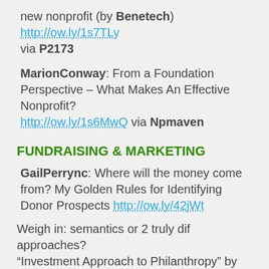new nonprofit (by Benetech) http://ow.ly/1s7TLy via P2173
MarionConway: From a Foundation Perspective – What Makes An Effective Nonprofit? http://ow.ly/1s6MwQ via Npmaven
FUNDRAISING & MARKETING
GailPerrync: Where will the money come from? My Golden Rules for Identifying Donor Prospects http://ow.ly/42jWt
Weigh in: semantics or 2 truly dif approaches? “Investment Approach to Philanthropy” by Tactphil http://ow.ly/1s7Qm6
IndSector: Value of a volunteer hr in Texas is $21.47.